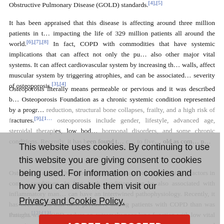Obstructive Pulmonary Disease (GOLD) standards.[4],[5]
It has been appraised that this disease is affecting around three million patients in t… impacting the life of 329 million patients all around the world.[6],[7],[8] In fact, COPD with commodities that have systemic implications that can affect not only the pu… also other major vital systems. It can affect cardiovascular system by increasing th… walls, affect muscular system by triggering atrophies, and can be associated… severity of osteoporosis.[3],[4]
Osteoporosis literally means permeable or pervious and it was described b… Osteoporosis Foundation as a chronic systemic condition represented by a progr… reduction, structural bone collapses, frailty, and a high risk of fractures.[9],[1… osteoporosis include gender, lifestyle, advanced age, steroidal therapies, low bod… hormonal disorders, and some chronic conditions. Recently, it has been found t… c… to five… old as com… p…
Osteoporosis and COPD are interconnected as there are many risk factors in com… conditions. In fact, both conditions can be also associated with inflammatory man… can have an intertwined pathophysiology. Recently, it has been found that os… pervasive among patients with COPD than was thought.[12],[13]
Patients with COPD endure an extremely poor lung function with low vital capacit… chronic condition is associated with osteoporosis-caused fractures, the co…